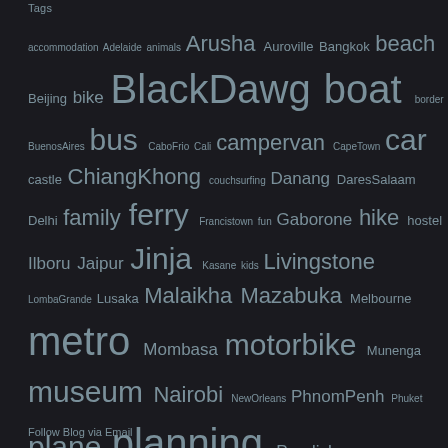Tags
accommodation Adelaide animals Arusha Auroville Bangkok beach Beijing bike BlackDawg boat border BuenosAires bus CaboFrio Cali campervan CapeTown car castle ChiangKhong couchsurfing Danang DaresSalaam Delhi family ferry Francistown fun Gaborone hike hostel Ilboru Jaipur Jinja Kasane kids Livingstone LombaGrande Lusaka Malaikha Mazabuka Melbourne metro Mombasa motorbike Munenga museum Nairobi NewOrleans PhnomPenh Phuket plane planning Pondicherry Rio SanFrancisco school taxi teaching temple Tianjin tickets Tokyo train tram Trujillo tuktuk Tulle Varanasi VictoriaFalls videos visa volunteering wine
Follow Blog via Email